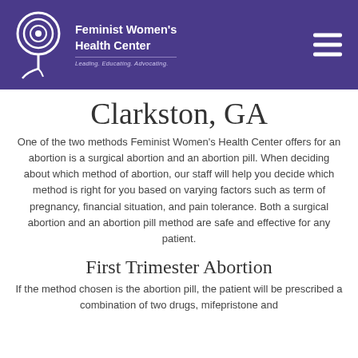Feminist Women's Health Center — Leading. Educating. Advocating.
Clarkston, GA
One of the two methods Feminist Women's Health Center offers for an abortion is a surgical abortion and an abortion pill. When deciding about which method of abortion, our staff will help you decide which method is right for you based on varying factors such as term of pregnancy, financial situation, and pain tolerance. Both a surgical abortion and an abortion pill method are safe and effective for any patient.
First Trimester Abortion
If the method chosen is the abortion pill, the patient will be prescribed a combination of two drugs, mifepristone and